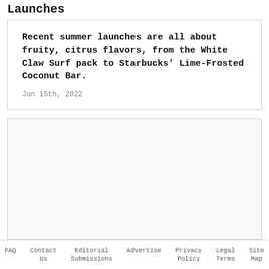Launches
Recent summer launches are all about fruity, citrus flavors, from the White Claw Surf pack to Starbucks' Lime-Frosted Coconut Bar.
Jun 15th, 2022
[Figure (other): Advertisement or placeholder block — empty gray area]
FAQ   Contact Us   Editorial Submissions   Advertise   Privacy Policy   Legal Terms   Site Map